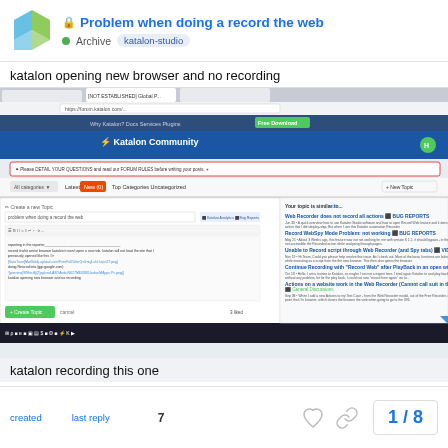Problem when doing a record the web | Archive | katalon-studio
katalon opening new browser and no recording
[Figure (screenshot): Screenshot of Katalon Community forum page showing a new topic creation dialog with a title 'problem when doing a record the web', and a sidebar showing similar topics including 'Web Recorder does not record all actions', 'Record WebSpy Mode Problem: not working', 'Unable to Record script through Web Recorder (and Spy tabs)', 'Continue Recording with Record Web after PlayBack in an open window', 'Actions on a website work in the Web Recorder (cannot call suit in the Main Runner)']
katalon recording this one
created   last reply   7
1 / 8